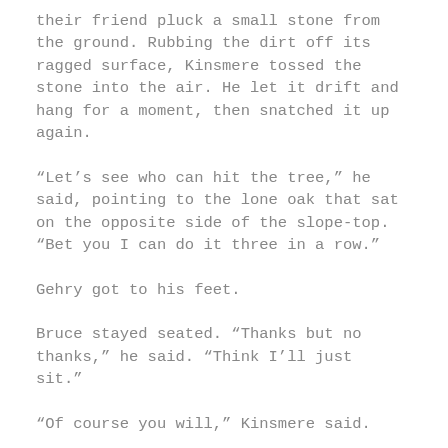their friend pluck a small stone from the ground. Rubbing the dirt off its ragged surface, Kinsmere tossed the stone into the air. He let it drift and hang for a moment, then snatched it up again.
“Let’s see who can hit the tree,” he said, pointing to the lone oak that sat on the opposite side of the slope-top. “Bet you I can do it three in a row.”
Gehry got to his feet.
Bruce stayed seated. “Thanks but no thanks,” he said. “Think I’ll just sit.”
“Of course you will,” Kinsmere said.
Bruce frowned. “What’s that supposed to mean?”